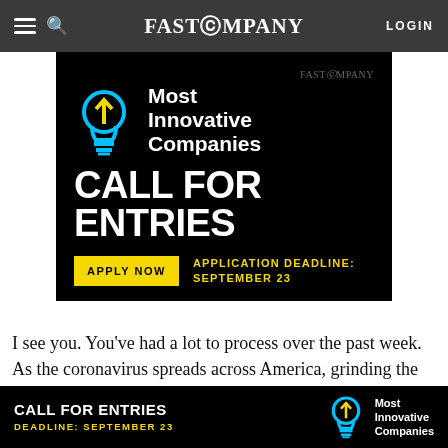FAST COMPANY  LOGIN
[Figure (infographic): Fast Company Most Innovative Companies ad banner. Black background. Blue lightbulb icon with yellow arrow. White bold text 'Most Innovative Companies'. Large white bold text 'CALL FOR ENTRIES'. Yellow button 'APPLY NOW'. Yellow text 'APPLICATION DEADLINE: SEPTEMBER 23'.]
I see you. You’ve had a lot to process over the past week. As the coronavirus spreads across America, grinding the economy to a halt, it’s dawning on you
[Figure (infographic): Bottom banner ad. Black background. White bold text 'CALL FOR ENTRIES'. Yellow text 'DEADLINE: SEPTEMBER 23'. Blue lightbulb icon. White text 'Most Innovative Companies'.]